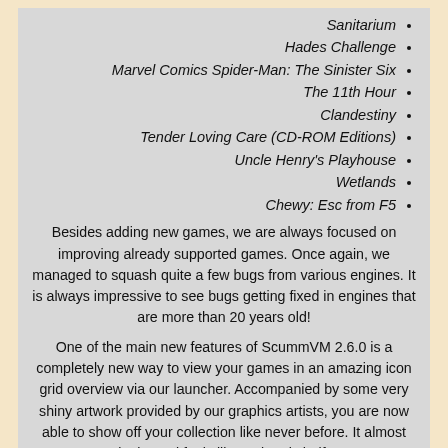Sanitarium
Hades Challenge
Marvel Comics Spider-Man: The Sinister Six
The 11th Hour
Clandestiny
Tender Loving Care (CD-ROM Editions)
Uncle Henry's Playhouse
Wetlands
Chewy: Esc from F5
Besides adding new games, we are always focused on improving already supported games. Once again, we managed to squash quite a few bugs from various engines. It is always impressive to see bugs getting fixed in engines that are more than 20 years old!
One of the main new features of ScummVM 2.6.0 is a completely new way to view your games in an amazing icon grid overview via our launcher. Accompanied by some very shiny artwork provided by our graphics artists, you are now able to show off your collection like never before. It almost looks and feels like a virtual shelf!
Check out the full Release Notes for a comprehensive